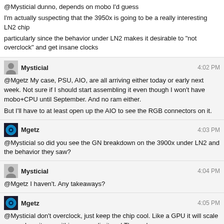@Mysticial dunno, depends on mobo I'd guess
I'm actually suspecting that the 3950x is going to be a really interesting LN2 chip
particularly since the behavior under LN2 makes it desirable to "not overclock" and get insane clocks
Mysticial 4:02 PM
@Mgetz My case, PSU, AIO, are all arriving either today or early next week. Not sure if I should start assembling it even though I won't have mobo+CPU until September. And no ram either.
But I'll have to at least open up the AIO to see the RGB connectors on it.
Mgetz 4:03 PM
@Mysticial so did you see the GN breakdown on the 3900x under LN2 and the behavior they saw?
Mysticial 4:04 PM
@Mgetz I haven't. Any takeaways?
Mgetz 4:05 PM
@Mysticial don't overclock, just keep the chip cool. Like a GPU it will scale as much as it can withing power limit and Thermals.
basically the chip will self clock up to the brink of insanity... within limits
Mysticial 4:06 PM
@Mgetz interesting.
So like if I increase TDP and turbo limit it'll just keep going up and stay within stable bounds?
Or does any OS automatically disable all power management like in Zen1.